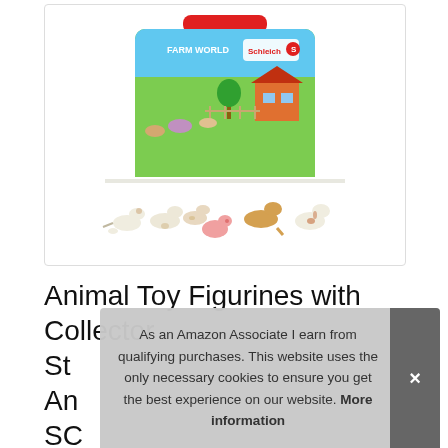[Figure (photo): Schleich Farm World animal toy figurines set with a collector carrying case, showing multiple small animal figures (cats, pigs, dogs, cows) arranged in front of the colorful Farm World branded suitcase with red handle.]
Animal Toy Figurines with Collector St... An... SC...
As an Amazon Associate I earn from qualifying purchases. This website uses the only necessary cookies to ensure you get the best experience on our website. More information